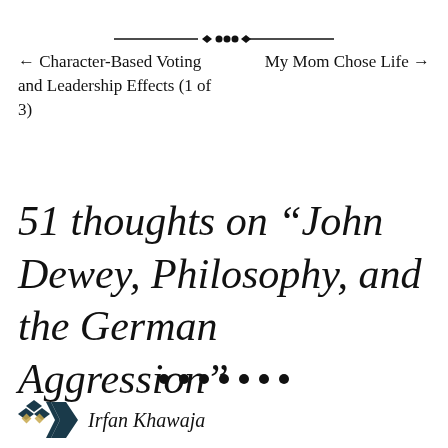[Figure (illustration): Decorative horizontal divider with diamond and dot ornament in center, flanked by horizontal lines]
← Character-Based Voting and Leadership Effects (1 of 3)    My Mom Chose Life →
51 thoughts on “John Dewey, Philosophy, and the German Aggression”
[Figure (illustration): Row of seven filled black dots as section divider]
[Figure (logo): Irfan Khawaja logo: geometric diamond/arrow pattern in dark teal/navy]
Irfan Khawaja